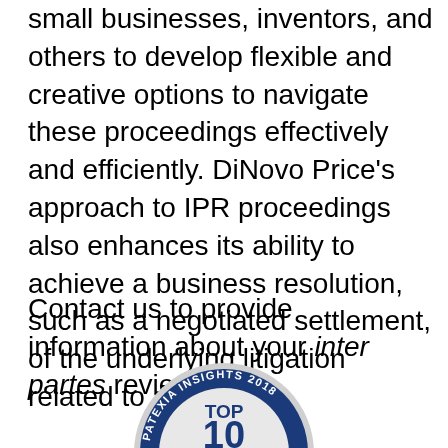small businesses, inventors, and others to develop flexible and creative options to navigate these proceedings effectively and efficiently. DiNovo Price's approach to IPR proceedings also enhances its ability to achieve a business resolution, such as a negotiated settlement, of the underlying litigation related to an IPR.
Contact us to provide information about your inter partes review.
[Figure (logo): Patexia Insights 2018 Top 10 badge — a circular emblem with a navy blue and grey background, featuring the text 'PATEXIA INSIGHTS 2018' around the rim and 'TOP 10' in large block letters in the center.]